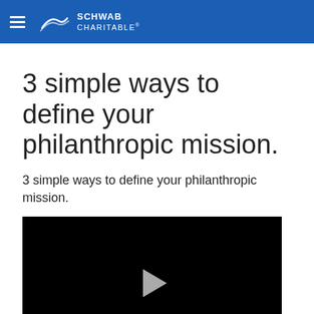Schwab Charitable
3 simple ways to define your philanthropic mission.
3 simple ways to define your philanthropic mission.
[Figure (screenshot): Black video player with a white/gray play button triangle in the center]